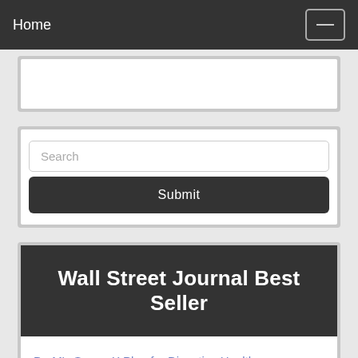Home
[Figure (screenshot): Partial white content box visible at top]
[Figure (screenshot): Search form with text input and Submit button]
Wall Street Journal Best Seller
Dr. M's Seven-X Plan for Digestive Health